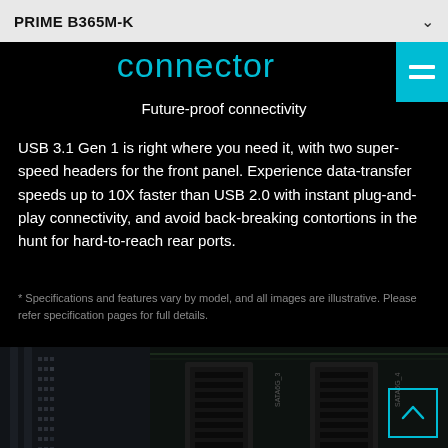PRIME B365M-K
connector
Future-proof connectivity
USB 3.1 Gen 1 is right where you need it, with two super-speed headers for the front panel. Experience data-transfer speeds up to 10X faster than USB 2.0 with instant plug-and-play connectivity, and avoid back-breaking contortions in the hunt for hard-to-reach rear ports.
* Specifications and features vary by model, and all images are illustrative. Please refer specification pages for full details.
[Figure (photo): Close-up photo of the PRIME B365M-K motherboard showing SATA 6G connectors and PCB components on a dark background.]